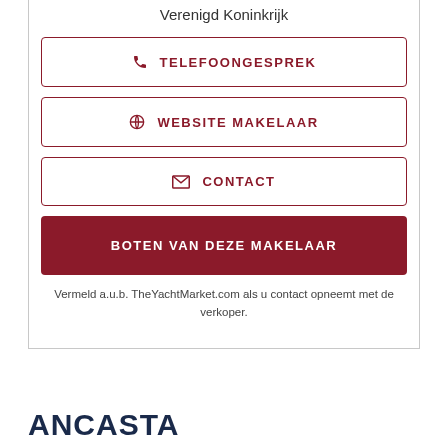Verenigd Koninkrijk
TELEFOONGESPREK
WEBSITE MAKELAAR
CONTACT
BOTEN VAN DEZE MAKELAAR
Vermeld a.u.b. TheYachtMarket.com als u contact opneemt met de verkoper.
ANCASTA INTERNATIONAL